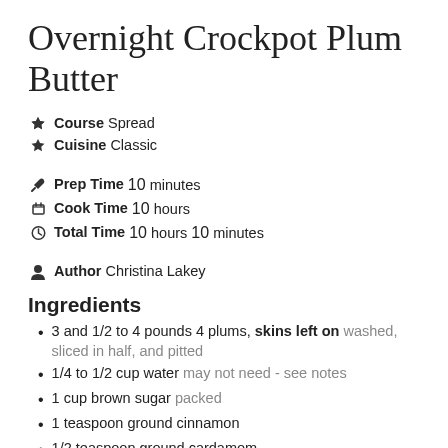Overnight Crockpot Plum Butter
Course Spread
Cuisine Classic
Prep Time 10 minutes
Cook Time 10 hours
Total Time 10 hours 10 minutes
Author Christina Lakey
Ingredients
3 and 1/2 to 4 pounds 4 plums, skins left on washed, sliced in half, and pitted
1/4 to 1/2 cup water may not need - see notes
1 cup brown sugar packed
1 teaspoon ground cinnamon
1/2 teaspoon ground cardamom